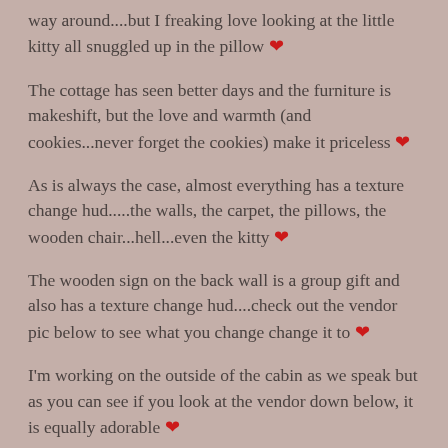way around....but I freaking love looking at the little kitty all snuggled up in the pillow ❤
The cottage has seen better days and the furniture is makeshift, but the love and warmth (and cookies...never forget the cookies) make it priceless ❤
As is always the case, almost everything has a texture change hud.....the walls, the carpet, the pillows, the wooden chair...hell...even the kitty ❤
The wooden sign on the back wall is a group gift and also has a texture change hud....check out the vendor pic below to see what you change change it to ❤
I'm working on the outside of the cabin as we speak but as you can see if you look at the vendor down below, it is equally adorable ❤